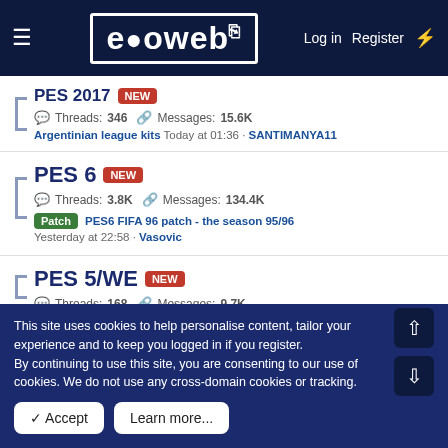evoweb — Log in  Register
PES 2017 NEW
Threads: 346  Messages: 15.6K
Argentinian league kits  Today at 01:36 · SANTIMANYA11
PES 6 NEW
Threads: 3.8K  Messages: 134.4K
Patch  PES6 FIFA 96 patch - the season 95/96  Yesterday at 22:58 · Vasovic
PES 5/WE NEW
Threads: 168  Messages: 9.7K
This site uses cookies to help personalise content, tailor your experience and to keep you logged in if you register.
By continuing to use this site, you are consenting to our use of cookies. We do not use any cross-domain cookies or tracking.
✓ Accept
Learn more...